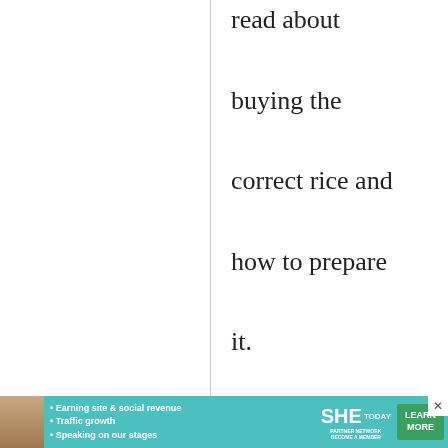read about buying the correct rice and how to prepare it.
maki
4 March, 2013 - 11:13
permalink
Re: deep fried??
Well the use of coriander tells me the dish is
[Figure (photo): Advertisement banner for SHE Partner Network with woman photo, bullet points about earning site & social revenue, traffic growth, speaking on stages, SHE logo, and LEARN MORE button]